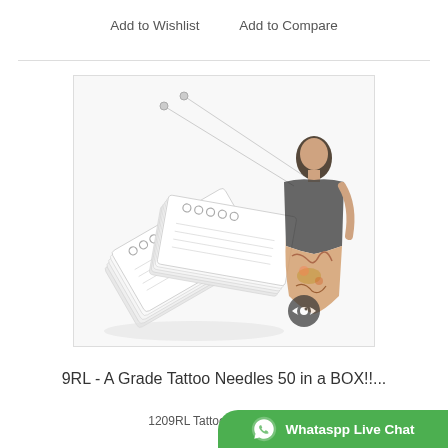Add to Wishlist    Add to Compare
[Figure (photo): Product photo showing tattoo needles in packaging alongside a woman with tattoos on her side/hip area. The needles are displayed in a clear plastic packaging stacked together. A copyright eye logo watermark is visible on the image.]
9RL - A Grade Tattoo Needles 50 in a BOX!!...
1209RL Tattoo Needle 50 i...
Whataspp Live Chat